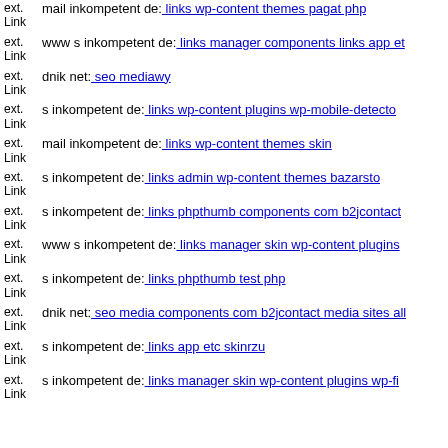ext. Link mail inkompetent de: links wp-content themes pagat php
ext. Link www s inkompetent de: links manager components links app et
ext. Link dnik net: seo mediawy
ext. Link s inkompetent de: links wp-content plugins wp-mobile-detector
ext. Link mail inkompetent de: links wp-content themes skin
ext. Link s inkompetent de: links admin wp-content themes bazarsto
ext. Link s inkompetent de: links phpthumb components com b2jcontact
ext. Link www s inkompetent de: links manager skin wp-content plugins
ext. Link s inkompetent de: links phpthumb test php
ext. Link dnik net: seo media components com b2jcontact media sites all
ext. Link s inkompetent de: links app etc skinrzu
ext. Link s inkompetent de: links manager skin wp-content plugins wp-fi